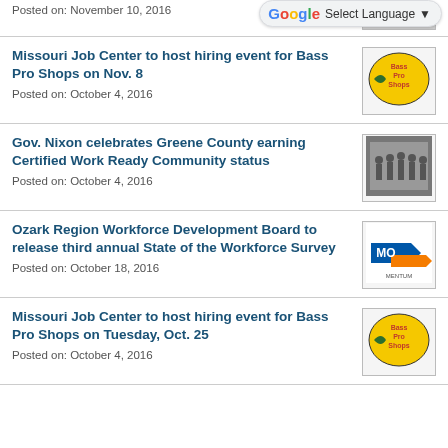Posted on: November 10, 2016
Missouri Job Center to host hiring event for Bass Pro Shops on Nov. 8
Posted on: October 4, 2016
[Figure (logo): Bass Pro Shops logo - yellow oval with fish and text]
Gov. Nixon celebrates Greene County earning Certified Work Ready Community status
Posted on: October 4, 2016
[Figure (photo): Group photo of people at an event]
Ozark Region Workforce Development Board to release third annual State of the Workforce Survey
Posted on: October 18, 2016
[Figure (logo): MO Momentum logo - blue and orange arrow]
Missouri Job Center to host hiring event for Bass Pro Shops on Tuesday, Oct. 25
Posted on: October 4, 2016
[Figure (logo): Bass Pro Shops logo - yellow oval with fish and text]